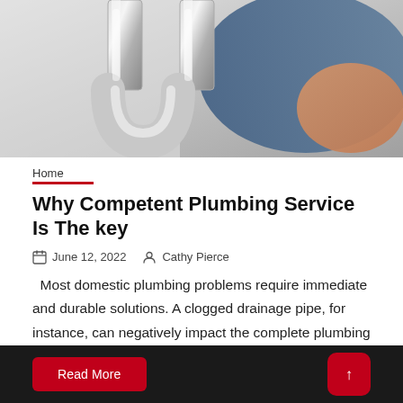[Figure (photo): Close-up photo of chrome/silver U-shaped plumbing pipe trap with a person's hands visible in background wearing a blue shirt]
Home
Why Competent Plumbing Service Is The key
June 12, 2022   Cathy Pierce
Most domestic plumbing problems require immediate and durable solutions. A clogged drainage pipe, for instance, can negatively impact the complete plumbing system placed in
Read More